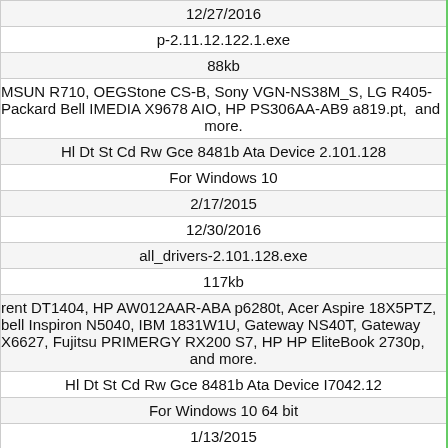| 12/27/2016 |
| p-2.11.12.122.1.exe |
| 88kb |
| MSUN R710, OEGStone CS-B, Sony VGN-NS38M_S, LG R405-
Packard Bell IMEDIA X9678 AIO, HP PS306AA-AB9 a819.pt,  and more. |
| Hl Dt St Cd Rw Gce 8481b Ata Device 2.101.128 |
| For Windows 10 |
| 2/17/2015 |
| 12/30/2016 |
| all_drivers-2.101.128.exe |
| 117kb |
| rent DT1404, HP AW012AAR-ABA p6280t, Acer Aspire 18X5PTZ,
bell Inspiron N5040, IBM 1831W1U, Gateway NS40T, Gateway
X6627, Fujitsu PRIMERGY RX200 S7, HP HP EliteBook 2730p,
and more. |
| Hl Dt St Cd Rw Gce 8481b Ata Device I7042.12 |
| For Windows 10 64 bit |
| 1/13/2015 |
| 12/30/2016 |
| all_drivers-i7042.12.exe |
| 319kb |